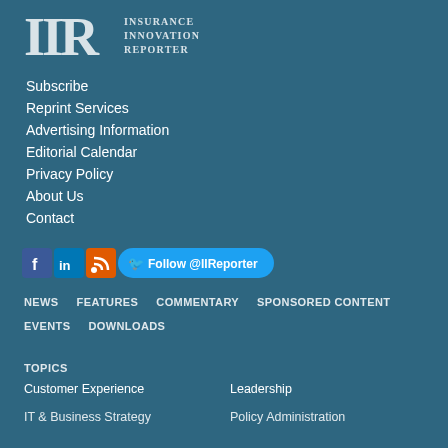[Figure (logo): Insurance Innovation Reporter logo with stylized IIR letters and text]
Subscribe
Reprint Services
Advertising Information
Editorial Calendar
Privacy Policy
About Us
Contact
[Figure (infographic): Social media icons: Facebook, LinkedIn, RSS, and Twitter Follow @IIReporter button]
NEWS
FEATURES
COMMENTARY
SPONSORED CONTENT
EVENTS
DOWNLOADS
TOPICS
Customer Experience
Leadership
IT & Business Strategy
Policy Administration